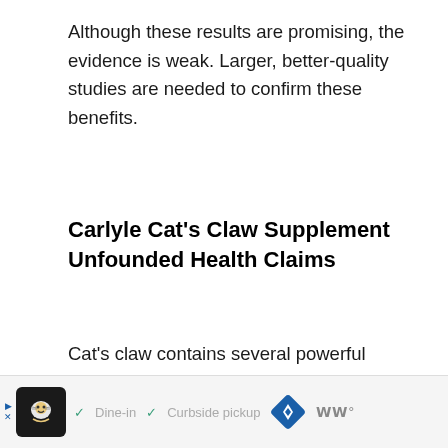Although these results are promising, the evidence is weak. Larger, better-quality studies are needed to confirm these benefits.
Carlyle Cat's Claw Supplement Unfounded Health Claims
Cat's claw contains several powerful compounds — such as phenolic acids, alkaloids, and flavonoids — that may promote health.
However, there is currently not enough research to support many of its supposed benefits, including for the following conditions: